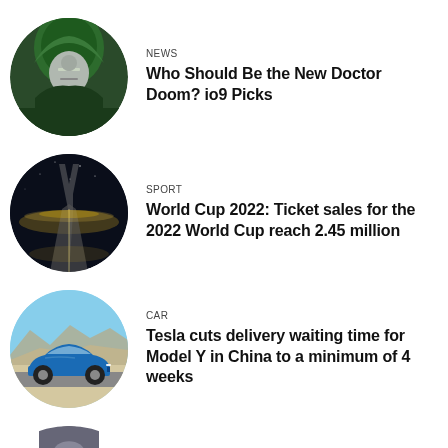[Figure (illustration): Circular thumbnail of Doctor Doom character in green hood and metal mask]
NEWS
Who Should Be the New Doctor Doom? io9 Picks
[Figure (photo): Circular thumbnail of aerial night view of a road/highway]
SPORT
World Cup 2022: Ticket sales for the 2022 World Cup reach 2.45 million
[Figure (photo): Circular thumbnail of blue Tesla Model Y car]
CAR
Tesla cuts delivery waiting time for Model Y in China to a minimum of 4 weeks
[Figure (photo): Partial circular thumbnail at bottom, partially visible]